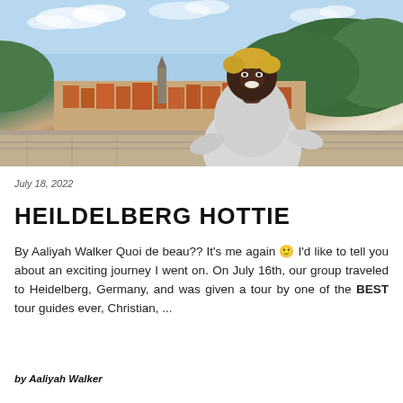[Figure (photo): A smiling young Black woman with short blonde hair wearing a grey ribbed sweater, standing on an overlook with the city of Heidelberg, Germany in the background, including red-roofed buildings, a river, and forested hills under a blue sky.]
July 18, 2022
HEILDELBERG HOTTIE
By Aaliyah Walker Quoi de beau?? It's me again 🙂 I'd like to tell you about an exciting journey I went on. On July 16th, our group traveled to Heidelberg, Germany, and was given a tour by one of the BEST tour guides ever, Christian, ...
by Aaliyah Walker